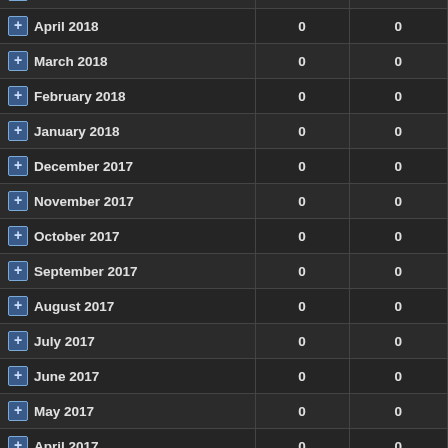| Month | Col2 | Col3 |
| --- | --- | --- |
| April 2018 | 0 | 0 |
| March 2018 | 0 | 0 |
| February 2018 | 0 | 0 |
| January 2018 | 0 | 0 |
| December 2017 | 0 | 0 |
| November 2017 | 0 | 0 |
| October 2017 | 0 | 0 |
| September 2017 | 0 | 0 |
| August 2017 | 0 | 0 |
| July 2017 | 0 | 0 |
| June 2017 | 0 | 0 |
| May 2017 | 0 | 0 |
| April 2017 | 0 | 0 |
| March 2017 | 0 | 0 |
| February 2017 | 0 | 0 |
| January 2017 | 0 | 0 |
| December 2016 | 0 | 0 |